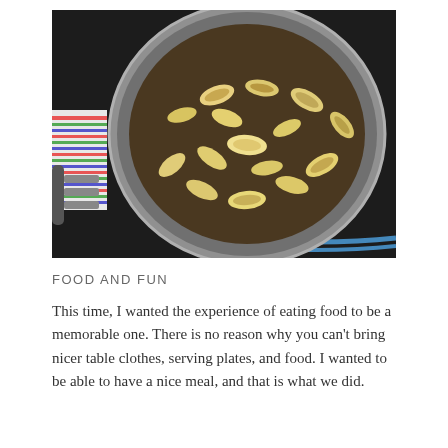[Figure (photo): Overhead view of a pot filled with rotini/fusilli pasta (cavatappi style) sitting on a grill or stove, with a spatula or large fork visible on the left side and a colorful striped cloth nearby.]
FOOD AND FUN
This time, I wanted the experience of eating food to be a memorable one. There is no reason why you can't bring nicer table clothes, serving plates, and food. I wanted to be able to have a nice meal, and that is what we did.